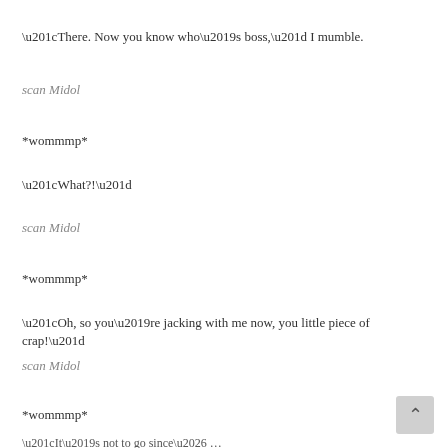“There. Now you know who’s boss,” I mumble.
scan Midol
*wommmp*
“What?!”
scan Midol
*wommmp*
“Oh, so you’re jacking with me now, you little piece of crap!”
scan Midol
*wommmp*
“It’s not over since… Motif is not to go away…”